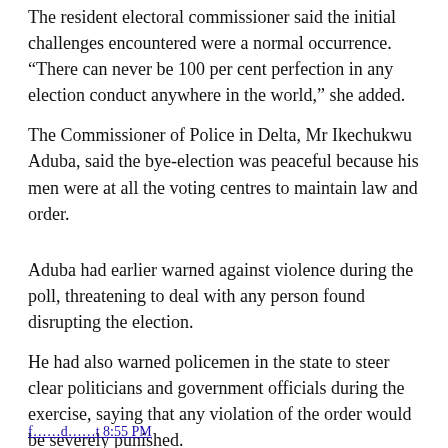The resident electoral commissioner said the initial challenges encountered were a normal occurrence. “There can never be 100 per cent perfection in any election conduct anywhere in the world,” she added.
The Commissioner of Police in Delta, Mr Ikechukwu Aduba, said the bye-election was peaceful because his men were at all the voting centres to maintain law and order.
Aduba had earlier warned against violence during the poll, threatening to deal with any person found disrupting the election.
He had also warned policemen in the state to steer clear politicians and government officials during the exercise, saying that any violation of the order would be severely punished.
The bye-election followed the death of Sen. Pius Ewerido of DPP on June 30, 2013.
f...l...d...l...t 8:55 PM